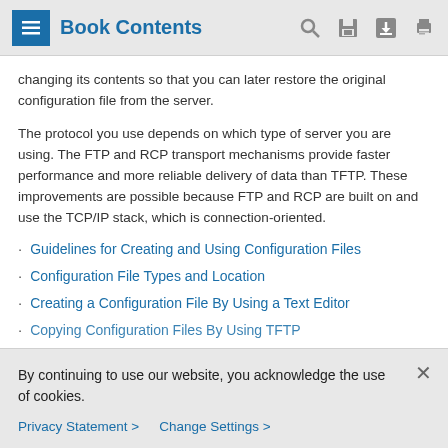Book Contents
changing its contents so that you can later restore the original configuration file from the server.
The protocol you use depends on which type of server you are using. The FTP and RCP transport mechanisms provide faster performance and more reliable delivery of data than TFTP. These improvements are possible because FTP and RCP are built on and use the TCP/IP stack, which is connection-oriented.
Guidelines for Creating and Using Configuration Files
Configuration File Types and Location
Creating a Configuration File By Using a Text Editor
Copying Configuration Files By Using TFTP
By continuing to use our website, you acknowledge the use of cookies.
Privacy Statement > Change Settings >